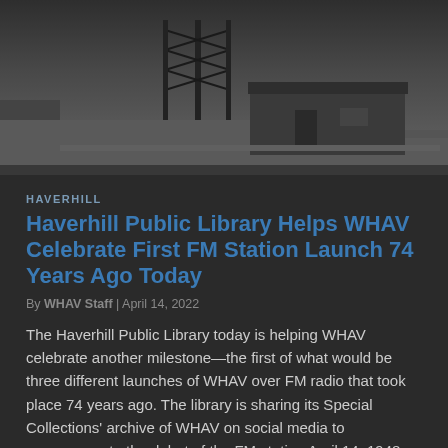[Figure (photo): Black and white photograph of a small building with a radio tower, set on open ground with a dark sky background.]
HAVERHILL
Haverhill Public Library Helps WHAV Celebrate First FM Station Launch 74 Years Ago Today
By WHAV Staff | April 14, 2022
The Haverhill Public Library today is helping WHAV celebrate another milestone—the first of what would be three different launches of WHAV over FM radio that took place 74 years ago. The library is sharing its Special Collections' archive of WHAV on social media to commemorate the debut of the FM station April 14, 1948. The original FM signal came a year after the launch of an AM station. The FM would turn out to be ahead of